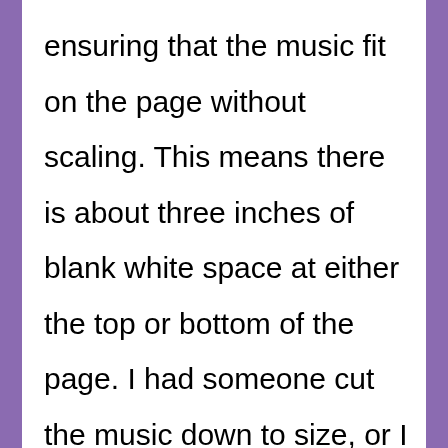ensuring that the music fit on the page without scaling. This means there is about three inches of blank white space at either the top or bottom of the page. I had someone cut the music down to size, or I would fold down the top of the page